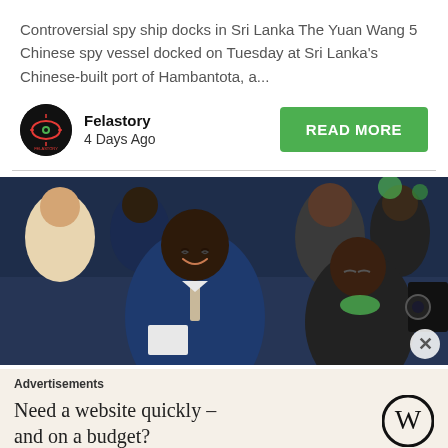Controversial spy ship docks in Sri Lanka The Yuan Wang 5 Chinese spy vessel docked on Tuesday at Sri Lanka's Chinese-built port of Hambantota, a...
Felastory
4 Days Ago
[Figure (photo): Photograph of a smiling man in a blue suit holding a paper, surrounded by a crowd of people at a public event.]
Advertisements
Need a website quickly – and on a budget?